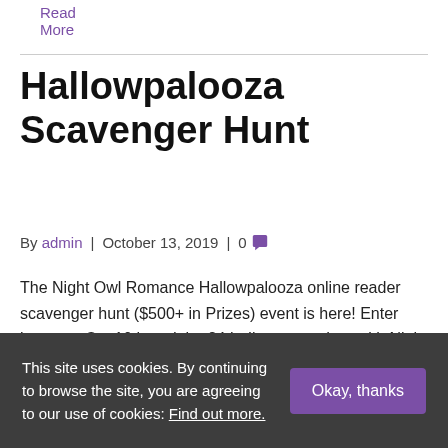Read More
Hallowpalooza Scavenger Hunt
By admin | October 13, 2019 | 0 [comment icon]
The Night Owl Romance Hallowpalooza online reader scavenger hunt ($500+ in Prizes) event is here! Enter between Oct 10th and the 24th. I've teamed up with Night Owl Romance and other authors to bring you the chance to win a Waterproof Kindle Paperwhite, gift baskets & Amazon cards. During this event, I'm going to help…
This site uses cookies. By continuing to browse the site, you are agreeing to our use of cookies: Find out more. [Okay, thanks button]